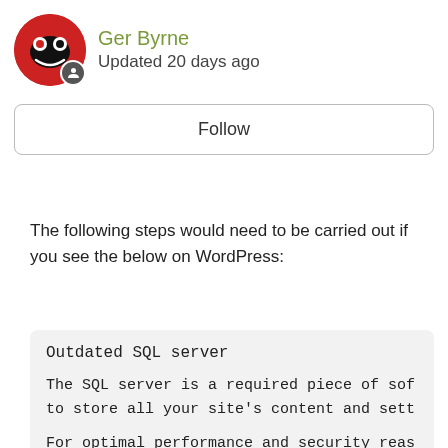Ger Byrne
Updated 20 days ago
Follow
The following steps would need to be carried out if you see the below on WordPress:
[Figure (screenshot): A code/message box with monospace text showing: 'Outdated SQL server' as heading, followed by 'The SQL server is a required piece of sof[tware] to store all your site's content and sett[ings].' and 'For optimal performance and security reas[ons] 5.6 or higher. Contact your web hosting c[ompany]']